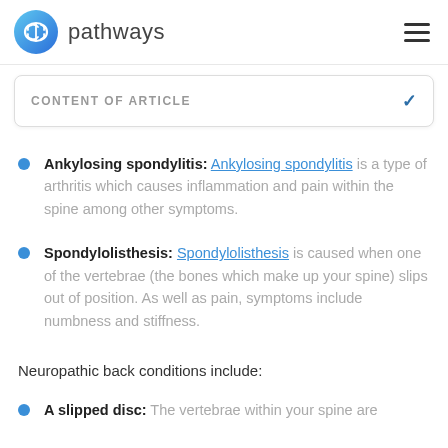pathways
CONTENT OF ARTICLE
Ankylosing spondylitis: Ankylosing spondylitis is a type of arthritis which causes inflammation and pain within the spine among other symptoms.
Spondylolisthesis: Spondylolisthesis is caused when one of the vertebrae (the bones which make up your spine) slips out of position. As well as pain, symptoms include numbness and stiffness.
Neuropathic back conditions include:
A slipped disc: The vertebrae within your spine are